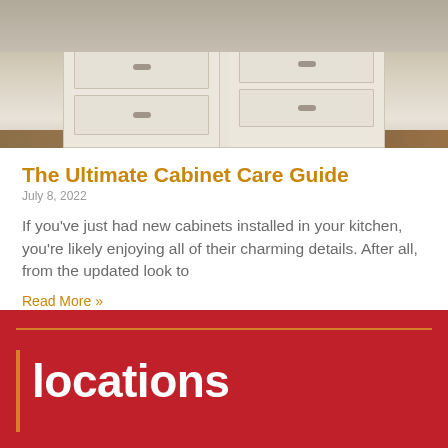[Figure (photo): Kitchen cabinet island with white/cream painted cabinets, raised panel doors and drawers with metal bar handles, wood floor visible]
The Ultimate Cabinet Care Guide
July 8, 2022
If you've just had new cabinets installed in your kitchen, you're likely enjoying all of their charming details. After all, from the updated look to
Read More »
locations